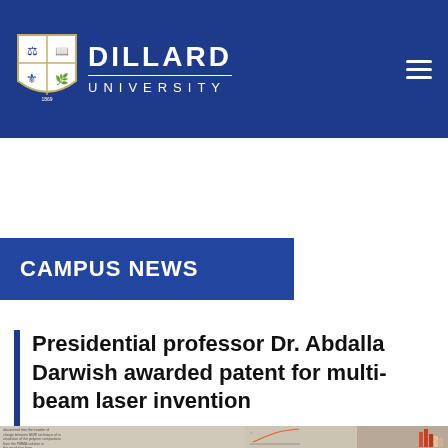[Figure (logo): Dillard University logo with shield crest and text DILLARD UNIVERSITY in white on dark blue header]
CAMPUS NEWS
Presidential professor Dr. Abdalla Darwish awarded patent for multi-beam laser invention
[Figure (photo): Partial view of a document or poster with text and a chart, bottom of page]